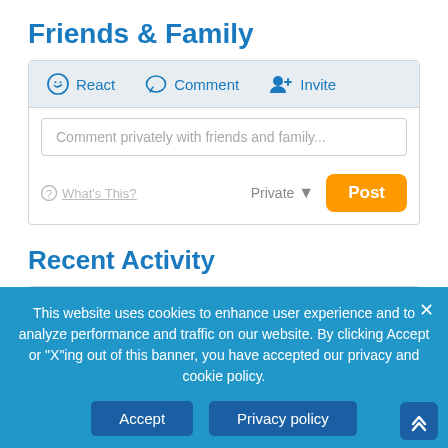Friends & Family
[Figure (screenshot): UI panel with React, Comment, and Invite action buttons in a light blue-grey bar, followed by a comment input box with placeholder text 'Comment privately with friends and family...', and a post bar with 'What's This?', 'Private' dropdown, and orange 'Post' button]
Recent Activity
[Figure (screenshot): Activity feed showing 'a month ago' with green refresh icon and italic text 'Listing updated with changes from the MLS', and a second partially visible row]
This website uses cookies to enhance user experience and to analyze performance and traffic on our website. By clicking Accept or "X"ing out of this banner, you have accepted our privacy and cookie policy.
Accept
Privacy policy